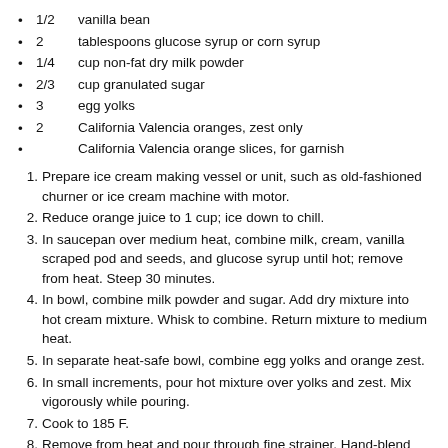1/2   vanilla bean
2     tablespoons glucose syrup or corn syrup
1/4   cup non-fat dry milk powder
2/3   cup granulated sugar
3     egg yolks
2     California Valencia oranges, zest only
California Valencia orange slices, for garnish
1. Prepare ice cream making vessel or unit, such as old-fashioned churner or ice cream machine with motor.
2. Reduce orange juice to 1 cup; ice down to chill.
3. In saucepan over medium heat, combine milk, cream, vanilla scraped pod and seeds, and glucose syrup until hot; remove from heat. Steep 30 minutes.
4. In bowl, combine milk powder and sugar. Add dry mixture into hot cream mixture. Whisk to combine. Return mixture to medium heat.
5. In separate heat-safe bowl, combine egg yolks and orange zest.
6. In small increments, pour hot mixture over yolks and zest. Mix vigorously while pouring.
7. Cook to 185 F.
8. Remove from heat and pour through fine strainer. Hand-blend